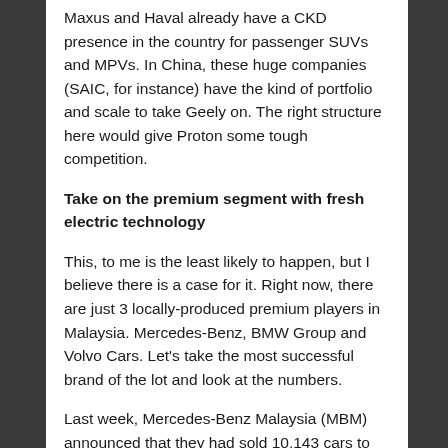Maxus and Haval already have a CKD presence in the country for passenger SUVs and MPVs. In China, these huge companies (SAIC, for instance) have the kind of portfolio and scale to take Geely on. The right structure here would give Proton some tough competition.
Take on the premium segment with fresh electric technology
This, to me is the least likely to happen, but I believe there is a case for it. Right now, there are just 3 locally-produced premium players in Malaysia. Mercedes-Benz, BMW Group and Volvo Cars. Let's take the most successful brand of the lot and look at the numbers.
Last week, Mercedes-Benz Malaysia (MBM) announced that they had sold 10,143 cars to date for 2018. We know half way through the year, they had sold 6,790 cars. Meaning that during the tax holiday (June, July, August) they sold some 3,353 cars. Those are the facts, as far as I can tell.